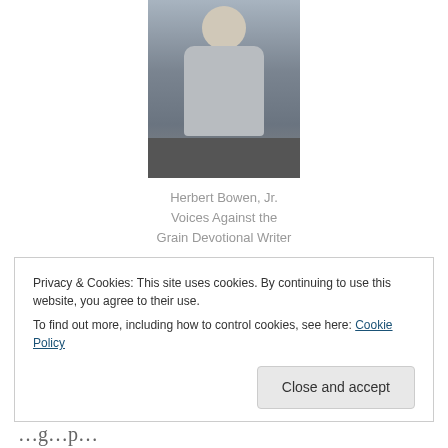[Figure (photo): Portrait photo of Herbert Bowen Jr., a man sitting, wearing a grey cardigan, white shirt, and tie, against a dark background]
Herbert Bowen, Jr.
Voices Against the Grain Devotional Writer
There is something serene about the word “peace.” Synonyms, such as halcyon, amity, and accord, seem to follow the same suit. Thus, there is something exquisite that can be found within the word “peace.” It could be
Privacy & Cookies: This site uses cookies. By continuing to use this website, you agree to their use.
To find out more, including how to control cookies, see here: Cookie Policy
Close and accept